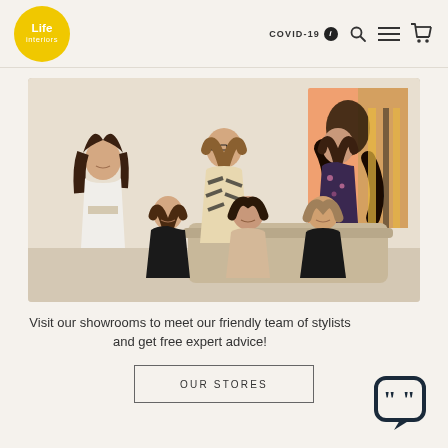Life interiors | COVID-19 [nav icons]
[Figure (photo): Group photo of six people (team of stylists) in a bright interior setting with artwork in background. Three standing, three seated.]
Visit our showrooms to meet our friendly team of stylists and get free expert advice!
OUR STORES
[Figure (other): Chat support icon — speech bubble with quotation marks]